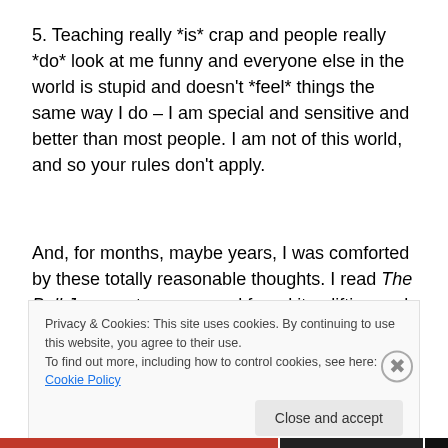5. Teaching really *is* crap and people really *do* look at me funny and everyone else in the world is stupid and doesn't *feel* things the same way I do – I am special and sensitive and better than most people. I am not of this world, and so your rules don't apply.
And, for months, maybe years, I was comforted by these totally reasonable thoughts. I read The Bell Jar as a teenager and found it uplifting and inspirational. I read
Privacy & Cookies: This site uses cookies. By continuing to use this website, you agree to their use.
To find out more, including how to control cookies, see here: Cookie Policy